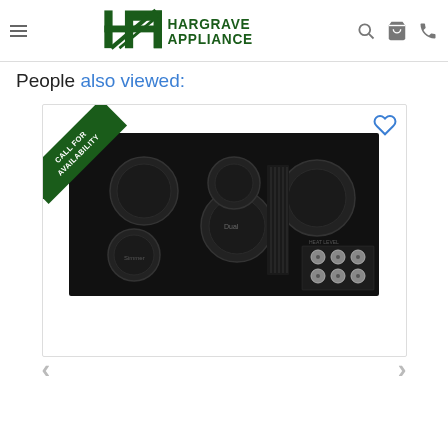Hargrave Appliance — navigation header with logo, hamburger menu, search, cart, and phone icons
People also viewed:
[Figure (photo): Product card showing a black electric cooktop with 5 burners and a ventilation grille with silver knobs, overlaid with a 'Call for Availability' diagonal green banner badge and a heart/wishlist icon in the top right corner.]